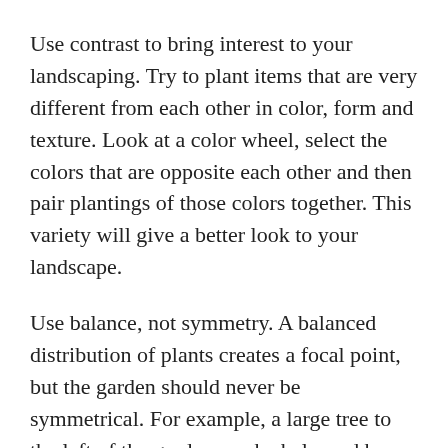Use contrast to bring interest to your landscaping. Try to plant items that are very different from each other in color, form and texture. Look at a color wheel, select the colors that are opposite each other and then pair plantings of those colors together. This variety will give a better look to your landscape.
Use balance, not symmetry. A balanced distribution of plants creates a focal point, but the garden should never be symmetrical. For example, a large tree to the left of the garden can be balanced by two smaller trees to the right. This creates a much more desirable effect in the garden, whereas a symmetrical look appears completely unnatural.
Purchase what you need in different stages. It can be